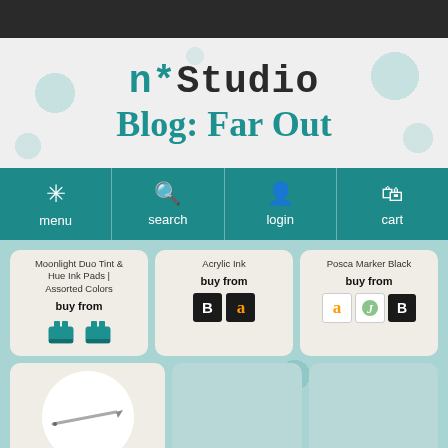[Figure (screenshot): Top dark bar of website]
n*Studio Blog: Far Out
[Figure (screenshot): Navigation bar with menu, search, login, cart icons on teal background]
Moonlight Duo Tint & Hue Ink Pads | Assorted Colors
buy from
Acrylic Ink
buy from
Posca Marker Black
buy from
[Figure (illustration): Pencil shown in white circle on product card]